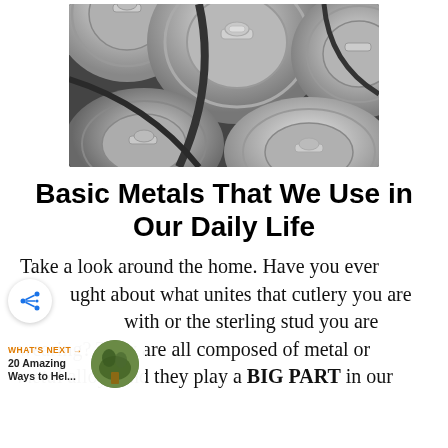[Figure (photo): Black and white close-up photograph of multiple aluminum beverage cans viewed from above, showing pull tabs and ridged tops.]
Basic Metals That We Use in Our Daily Life
Take a look around the home. Have you ever thought about what unites that cutlery you are with or the sterling stud you are wearing? They are all composed of metal or metal alloys and they play a BIG PART in our